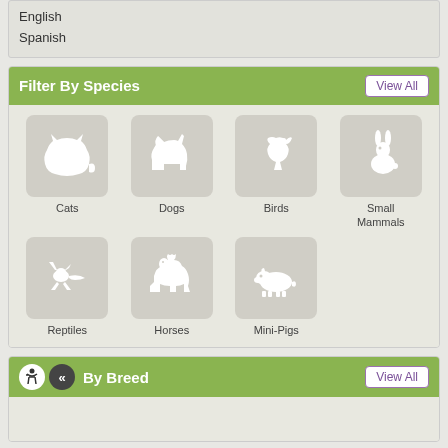English
Spanish
Filter By Species
[Figure (infographic): Grid of animal species icons: Cats (cat silhouette), Dogs (dog silhouette), Birds (bird silhouette), Small Mammals (rabbit silhouette), Reptiles (lizard silhouette), Horses (horse silhouette), Mini-Pigs (pig silhouette)]
By Breed